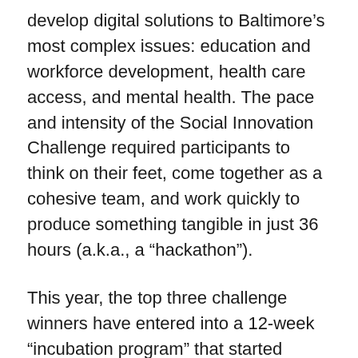develop digital solutions to Baltimore’s most complex issues: education and workforce development, health care access, and mental health. The pace and intensity of the Social Innovation Challenge required participants to think on their feet, come together as a cohesive team, and work quickly to produce something tangible in just 36 hours (a.k.a., a “hackathon”).
This year, the top three challenge winners have entered into a 12-week “incubation program” that started February 15. The Juxtopia Urban Innovation and Cooperative Entrepreneurship (JUICE) Bootcamp is training and coaching the entrepreneurs and helping them take an idea from concept to commercialization. Access to mentors from Joining Wall and the Office of Baltimore...